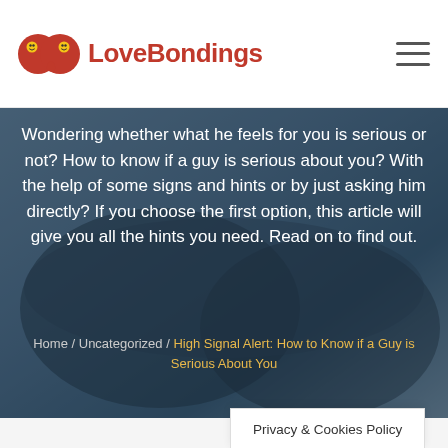[Figure (logo): LoveBondings website logo with two circular smiley face icons and the text LoveBondings in red]
Wondering whether what he feels for you is serious or not? How to know if a guy is serious about you? With the help of some signs and hints or by just asking him directly? If you choose the first option, this article will give you all the hints you need. Read on to find out.
Home / Uncategorized / High Signal Alert: How to Know if a Guy is Serious About You
Privacy & Cookies Policy